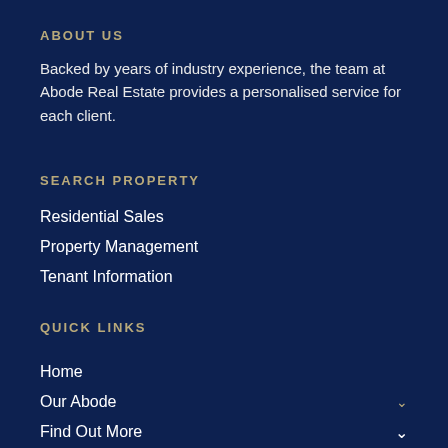ABOUT US
Backed by years of industry experience, the team at Abode Real Estate provides a personalised service for each client.
SEARCH PROPERTY
Residential Sales
Property Management
Tenant Information
QUICK LINKS
Home
Our Abode
Find Out More
Your Abode
Learn